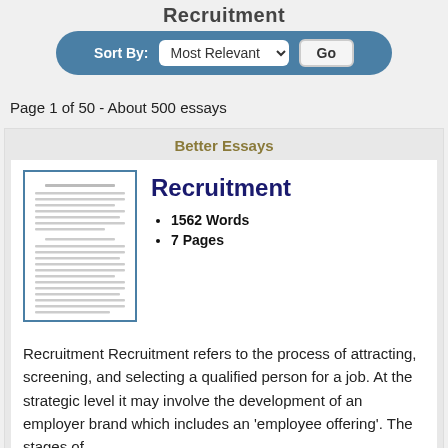Recruitment
Sort By: Most Relevant  Go
Page 1 of 50 - About 500 essays
Better Essays
Recruitment
1562 Words
7 Pages
[Figure (illustration): Thumbnail preview of a text document page with lines of small text]
Recruitment Recruitment refers to the process of attracting, screening, and selecting a qualified person for a job. At the strategic level it may involve the development of an employer brand which includes an 'employee offering'. The stages of